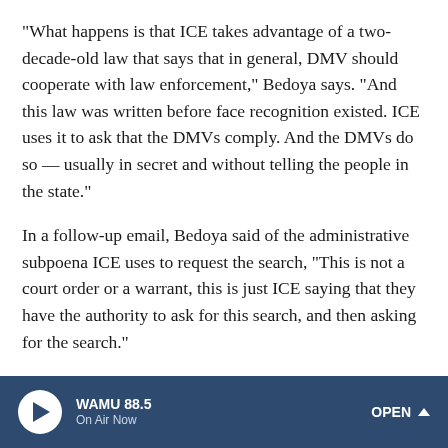"What happens is that ICE takes advantage of a two-decade-old law that says that in general, DMV should cooperate with law enforcement," Bedoya says. "And this law was written before face recognition existed. ICE uses it to ask that the DMVs comply. And the DMVs do so — usually in secret and without telling the people in the state."
In a follow-up email, Bedoya said of the administrative subpoena ICE uses to request the search, "This is not a court order or a warrant, this is just ICE saying that they have the authority to ask for this search, and then asking for the search."
ICE is not the only federal agency to be scrutinized for applying face recognition software to state driver records.
WAMU 88.5 On Air Now OPEN